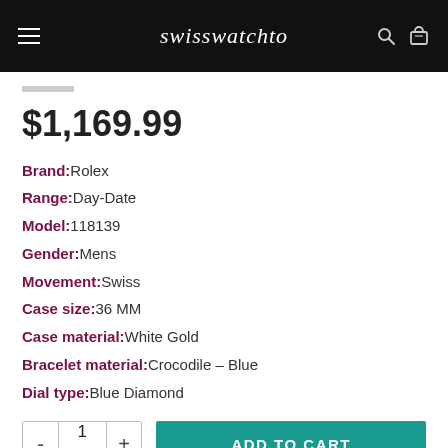swisswatchto
$1,169.99
Brand: Rolex
Range: Day-Date
Model: 118139
Gender: Mens
Movement: Swiss
Case size: 36 MM
Case material: White Gold
Bracelet material: Crocodile – Blue
Dial type: Blue Diamond
ADD TO CART